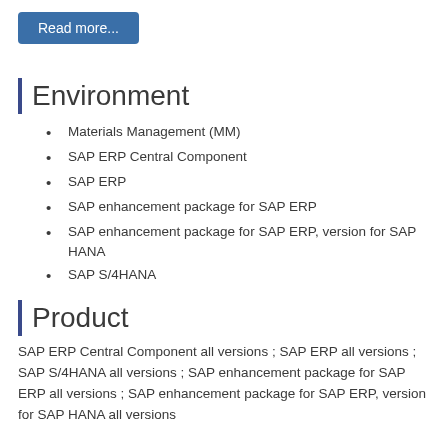Read more...
Environment
Materials Management (MM)
SAP ERP Central Component
SAP ERP
SAP enhancement package for SAP ERP
SAP enhancement package for SAP ERP, version for SAP HANA
SAP S/4HANA
Product
SAP ERP Central Component all versions ; SAP ERP all versions ; SAP S/4HANA all versions ; SAP enhancement package for SAP ERP all versions ; SAP enhancement package for SAP ERP, version for SAP HANA all versions